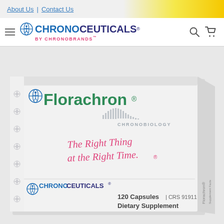About Us | Contact Us
[Figure (logo): ChronoCeuticals by ChronoBrands logo with hamburger menu, search and cart icons]
[Figure (photo): Florachron product box - white box with green Florachron brand name, chronobiology wave logo, 'The Right Thing at the Right Time' tagline in pink script, ChronoCeuticals branding, 120 Capsules CRS 91911, Dietary Supplement]